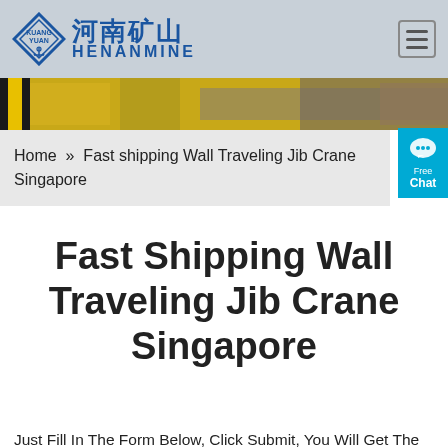[Figure (logo): Henanmine company logo with diamond shape icon and Chinese/English text]
[Figure (photo): Industrial crane/warehouse banner image in yellow and grey tones]
[Figure (infographic): Free Chat button with speech bubble icon in cyan/blue]
Home » Fast shipping Wall Traveling Jib Crane Singapore
Fast Shipping Wall Traveling Jib Crane Singapore
Just Fill In The Form Below, Click Submit, You Will Get The